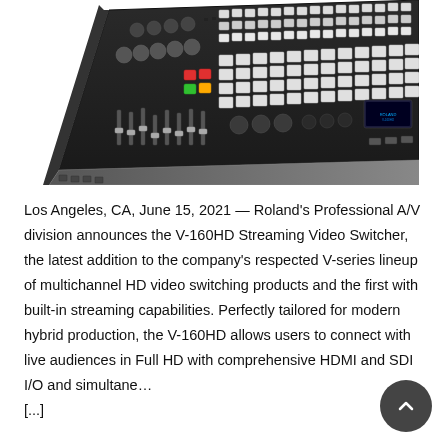[Figure (photo): Top-down angled view of a Roland V-160HD Streaming Video Switcher control surface with buttons, knobs, and illuminated pads against a white background.]
Los Angeles, CA, June 15, 2021 — Roland's Professional A/V division announces the V-160HD Streaming Video Switcher, the latest addition to the company's respected V-series lineup of multichannel HD video switching products and the first with built-in streaming capabilities. Perfectly tailored for modern hybrid production, the V-160HD allows users to connect with live audiences in Full HD with comprehensive HDMI and SDI I/O and simultane… [...]